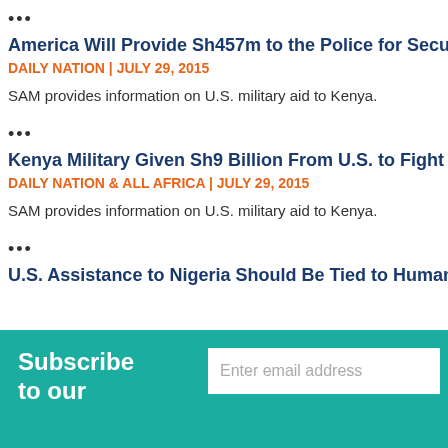...
America Will Provide Sh457m to the Police for Securing…
DAILY NATION | JULY 29, 2015
SAM provides information on U.S. military aid to Kenya.
...
Kenya Military Given Sh9 Billion From U.S. to Fight Al-Sh…
DAILY NATION & ALL AFRICA | JULY 29, 2015
SAM provides information on U.S. military aid to Kenya.
...
U.S. Assistance to Nigeria Should Be Tied to Human Rig…
Subscribe to our
Enter email address